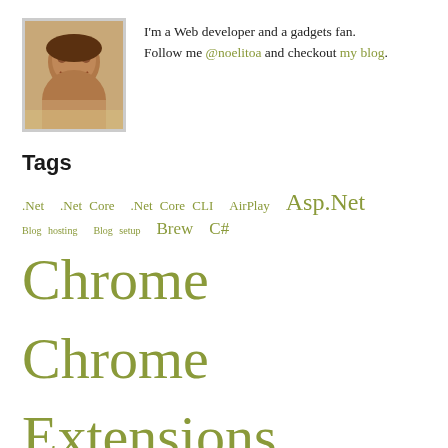[Figure (photo): Profile photo of a smiling man]
I'm a Web developer and a gadgets fan. Follow me @noelitoa and checkout my blog.
Tags
.Net .Net Core .Net Core CLI AirPlay Asp.Net Blog hosting Blog setup Brew C# Chrome Chrome Extensions Chrome Web Store CMS DNS DNSimple DNS Record IE ESC Internet Explorer Javascript jQuery jsFiddle kingston wi-drive macOS Noel Arlante OSX portable media semantic touch unboxing wi-drive user